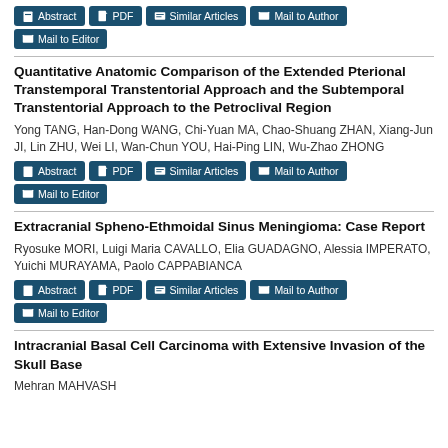Abstract | PDF | Similar Articles | Mail to Author | Mail to Editor
Quantitative Anatomic Comparison of the Extended Pterional Transtemporal Transtentorial Approach and the Subtemporal Transtentorial Approach to the Petroclival Region
Yong TANG, Han-Dong WANG, Chi-Yuan MA, Chao-Shuang ZHAN, Xiang-Jun JI, Lin ZHU, Wei LI, Wan-Chun YOU, Hai-Ping LIN, Wu-Zhao ZHONG
Abstract | PDF | Similar Articles | Mail to Author | Mail to Editor
Extracranial Spheno-Ethmoidal Sinus Meningioma: Case Report
Ryosuke MORI, Luigi Maria CAVALLO, Elia GUADAGNO, Alessia IMPERATO, Yuichi MURAYAMA, Paolo CAPPABIANCA
Abstract | PDF | Similar Articles | Mail to Author | Mail to Editor
Intracranial Basal Cell Carcinoma with Extensive Invasion of the Skull Base
Mehran MAHVASH